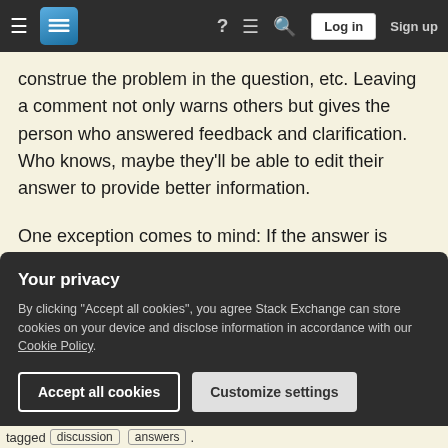Stack Exchange navigation bar with hamburger menu, logo, question mark, comment, search, Log in, Sign up
construe the problem in the question, etc. Leaving a comment not only warns others but gives the person who answered feedback and clarification. Who knows, maybe they'll be able to edit their answer to provide better information.
One exception comes to mind: If the answer is harmful to a users experience (The "rm -rf /" kind of answer) then please flag it as destructive so it can be reviewed for removal.
Your privacy
By clicking "Accept all cookies", you agree Stack Exchange can store cookies on your device and disclose information in accordance with our Cookie Policy.
Accept all cookies   Customize settings
tagged discussion answers .